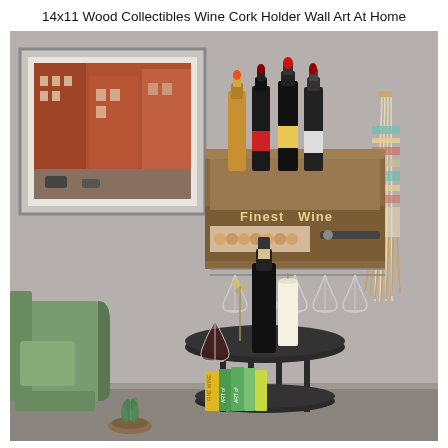14x11 Wood Collectibles Wine Cork Holder Wall Art At Home
[Figure (photo): Product lifestyle photo showing a wooden wall-mounted wine rack labeled 'Finest Wine' holding four wine bottles and wine corks, with hanging wine glasses below. The rack is mounted on a gray wall. To the left hangs a framed photo of a city street with red brick buildings and a wall tapestry/macramé hangs on the right. In the foreground is a round black metal side table with a wine bottle, wine glass, candle, and books including 'FINE WINE' and 'ART'. A green armchair sits on the left and a small potted succulent is at the bottom.]